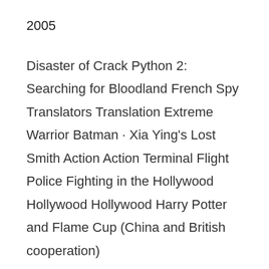2005
Disaster of Crack Python 2: Searching for Bloodland French Spy Translators Translation Extreme Warrior Batman · Xia Ying's Lost Smith Action Action Terminal Flight Police Fighting in the Hollywood Hollywood Hollywood Harry Potter and Flame Cup (China and British cooperation)
year 2006
Decisive Empire's Story Train Stunning Antarctic Adventure Da Vinci Code Glacier Age 2 Magic Bind